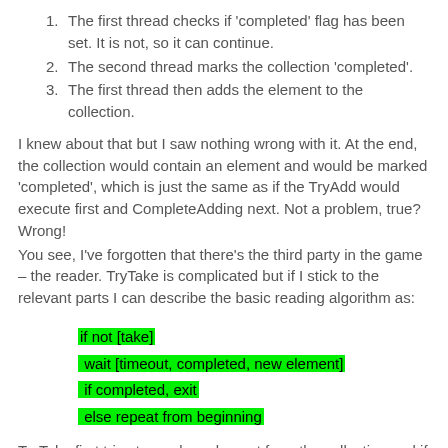1. The first thread checks if 'completed' flag has been set. It is not, so it can continue.
2. The second thread marks the collection 'completed'.
3. The first thread then adds the element to the collection.
I knew about that but I saw nothing wrong with it. At the end, the collection would contain an element and would be marked 'completed', which is just the same as if the TryAdd would execute first and CompleteAdding next. Not a problem, true? Wrong!
You see, I've forgotten that there's the third party in the game – the reader. TryTake is complicated but if I stick to the relevant parts I can describe the basic reading algorithm as:
[Figure (other): Code block showing pseudocode with highlighted lines: 'if not [take]', 'wait [timeout, completed, new element]', 'if completed, exit', 'else repeat from beginning']
TryTake first tries to read an element from the collection and if that fails, waits until the timeout has occurred or